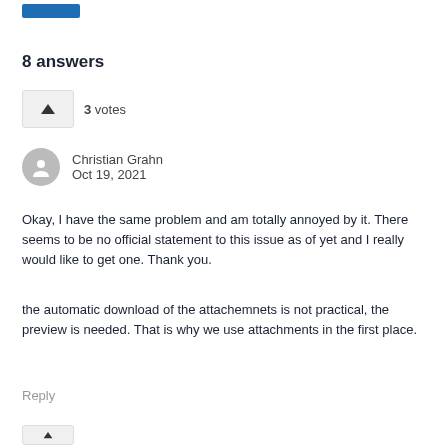8 answers
3 votes
Christian Grahn
Oct 19, 2021
Okay, I have the same problem and am totally annoyed by it. There seems to be no official statement to this issue as of yet and I really would like to get one. Thank you.
the automatic download of the attachemnets is not practical, the preview is needed. That is why we use attachments in the first place.
Reply